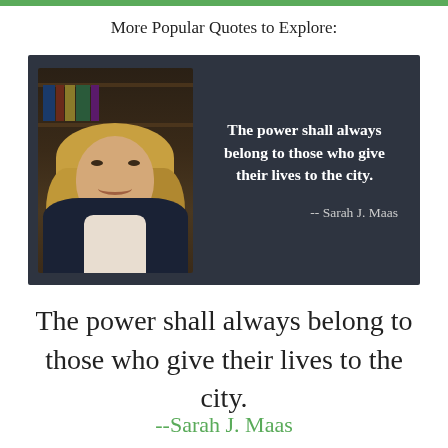More Popular Quotes to Explore:
[Figure (photo): Dark background quote card with a portrait photo of Sarah J. Maas on the left and a bold white text quote on the right: 'The power shall always belong to those who give their lives to the city.' attributed to -- Sarah J. Maas]
The power shall always belong to those who give their lives to the city.
--Sarah J. Maas